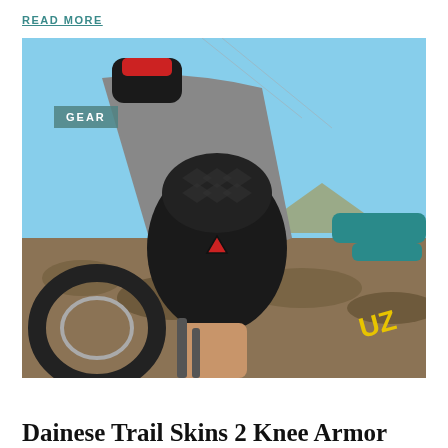READ MORE
[Figure (photo): A mountain biker wearing Dainese knee armor (black with red triangle logo) and gray shorts, sitting on a teal mountain bike. The background shows a rocky, arid landscape under a blue sky. A 'GEAR' label tag appears in the upper left of the image.]
Dainese Trail Skins 2 Knee Armor